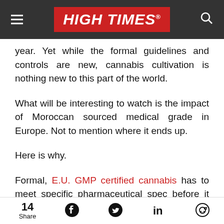HIGH TIMES
year. Yet while the formal guidelines and controls are new, cannabis cultivation is nothing new to this part of the world.
What will be interesting to watch is the impact of Moroccan sourced medical grade in Europe. Not to mention where it ends up.
Here is why.
Formal, E.U. GMP certified cannabis has to meet specific pharmaceutical spec before it can be
14 Share [Facebook] [Twitter] [LinkedIn] [Reddit]